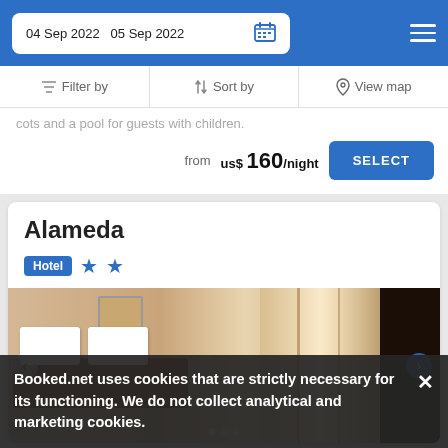04 Sep 2022  05 Sep 2022
Filter by  Sort by  View map
cots and a pool for guests with children.
from us$ 160/night  SELECT
Alameda
Hotel ★★
[Figure (photo): Hotel room interior showing a bed with white pillows, wooden headboard, curtains, and a mirror on the right wall]
Booked.net uses cookies that are strictly necessary for its functioning. We do not collect analytical and marketing cookies.